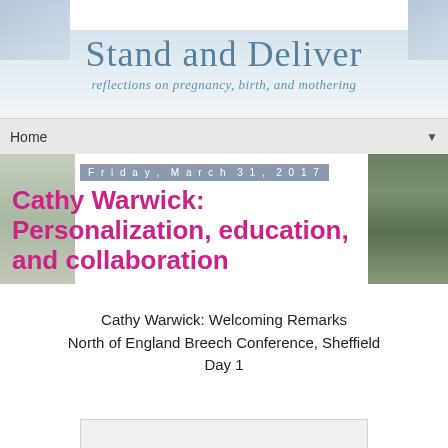[Figure (screenshot): Blog header banner with title 'Stand and Deliver' and subtitle 'reflections on pregnancy, birth, and mothering' on a light blue gradient background with decorative corner images]
Home ▼
Friday, March 31, 2017
Cathy Warwick: Personalization, education, and collaboration
Cathy Warwick: Welcoming Remarks
North of England Breech Conference, Sheffield
Day 1
[Figure (other): Embedded video placeholder (blank/gray rectangle)]